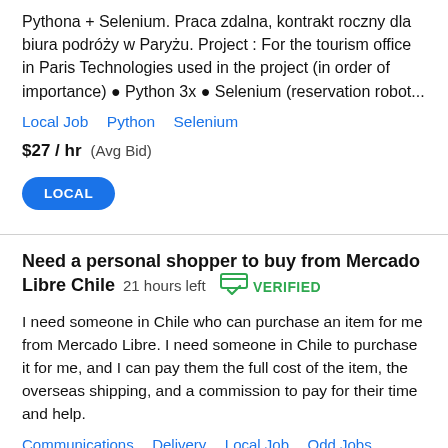Pythona + Selenium. Praca zdalna, kontrakt roczny dla biura podróży w Paryżu. Project : For the tourism office in Paris Technologies used in the project (in order of importance) ● Python 3x ● Selenium (reservation robot...
Local Job   Python   Selenium
$27 / hr  (Avg Bid)
LOCAL
Need a personal shopper to buy from Mercado Libre Chile  21 hours left  VERIFIED
I need someone in Chile who can purchase an item for me from Mercado Libre. I need someone in Chile to purchase it for me, and I can pay them the full cost of the item, the overseas shipping, and a commission to pay for their time and help.
Communications   Delivery   Local Job   Odd Jobs   Shipping